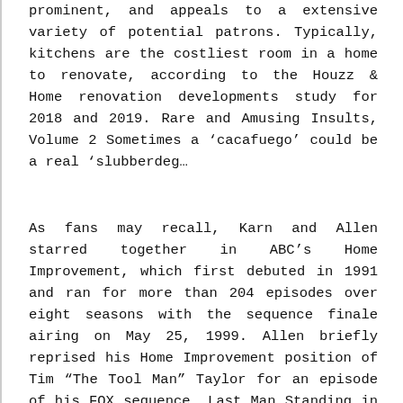prominent, and appeals to a extensive variety of potential patrons. Typically, kitchens are the costliest room in a home to renovate, according to the Houzz & Home renovation developments study for 2018 and 2019. Rare and Amusing Insults, Volume 2 Sometimes a ‘cacafuego’ could be a real ‘slubberdeg…
As fans may recall, Karn and Allen starred together in ABC’s Home Improvement, which first debuted in 1991 and ran for more than 204 episodes over eight seasons with the sequence finale airing on May 25, 1999. Allen briefly reprised his Home Improvement position of Tim “The Tool Man” Taylor for an episode of his FOX sequence, Last Man Standing in that collection’ ultimate season. Notably, Karn additionally appeared on Last Man Standing, taking part in Bill McKendree for 2